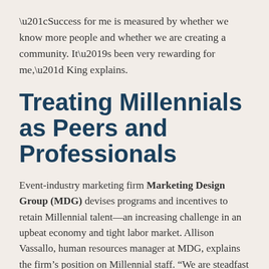“Success for me is measured by whether we know more people and whether we are creating a community. It’s been very rewarding for me,” King explains.
Treating Millennials as Peers and Professionals
Event-industry marketing firm Marketing Design Group (MDG) devises programs and incentives to retain Millennial talent—an increasing challenge in an upbeat economy and tight labor market. Allison Vassallo, human resources manager at MDG, explains the firm’s position on Millennial staff. “We are steadfast in the belief that Millennials are adults who have the same potential to contribute as any other generation of employee. This belief allows us to trust Millennials and provide